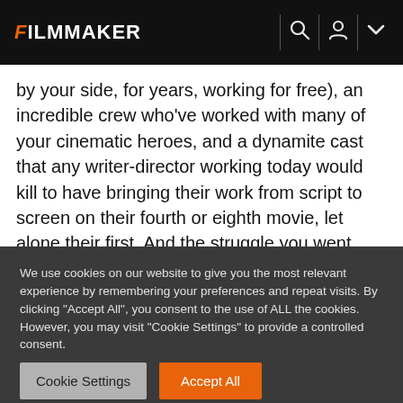FILMMAKER
by your side, for years, working for free), an incredible crew who've worked with many of your cinematic heroes, and a dynamite cast that any writer-director working today would kill to have bringing their work from script to screen on their fourth or eighth movie, let alone their first. And the struggle you went through to get it up and running doesn't mean a goddamn thing anymore. The only thing that matters is now is sound and image, what's in the frame, what's on the hard drive. And at the end of the day
We use cookies on our website to give you the most relevant experience by remembering your preferences and repeat visits. By clicking "Accept All", you consent to the use of ALL the cookies. However, you may visit "Cookie Settings" to provide a controlled consent.
Cookie Settings
Accept All